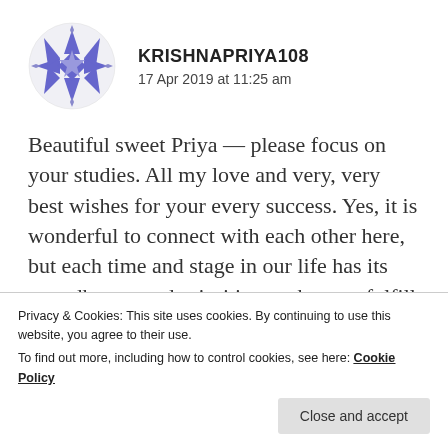[Figure (logo): Purple geometric snowflake/mandala avatar icon for user KRISHNAPRIYA108]
KRISHNAPRIYA108
17 Apr 2019 at 11:25 am
Beautiful sweet Priya — please focus on your studies. All my love and very, very best wishes for your every success. Yes, it is wonderful to connect with each other here, but each time and stage in our life has its own dharma and priorities – when we fulfill them, our life flowers. Prayers for your life to always be a beautiful garden of sweetness and love!
Take care and please do what it most appropriate
Privacy & Cookies: This site uses cookies. By continuing to use this website, you agree to their use.
To find out more, including how to control cookies, see here: Cookie Policy
Close and accept